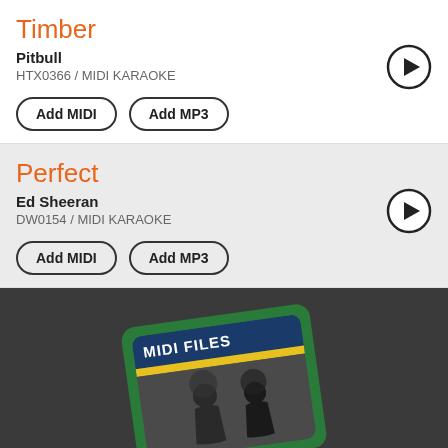Timber
Pitbull
HTX0366 / MIDI KARAOKE
Add MIDI   Add MP3
Perfect
Ed Sheeran
DW0154 / MIDI KARAOKE
Add MIDI   Add MP3
[Figure (illustration): MIDI FILES app icon/logo on dark background: a green rounded card with dark blue header showing 'MIDI FILES' text and yellow stripe, with a photo of people dancing underneath, rotated slightly]